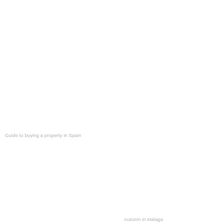Guide to buying a property in Spain
Autumn in Malaga